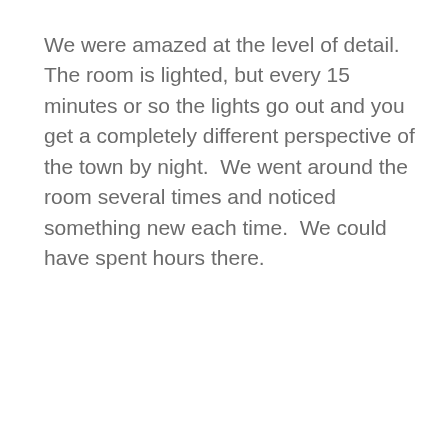We were amazed at the level of detail.  The room is lighted, but every 15 minutes or so the lights go out and you get a completely different perspective of the town by night.  We went around the room several times and noticed something new each time.  We could have spent hours there.